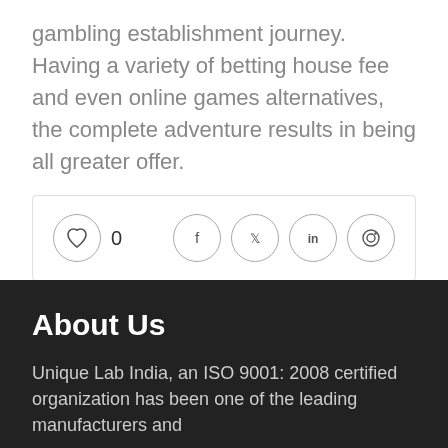gambling establishment journey. Having a variety of betting house fee and even online games alternatives, the complete adventure results in being all greater offer.
[Figure (other): Social sharing bar with like button (heart icon, count 0) and social media icons (Facebook, Twitter, LinkedIn, Pinterest)]
About Us
Unique Lab India, an ISO 9001: 2008 certified organization has been one of the leading manufacturers and